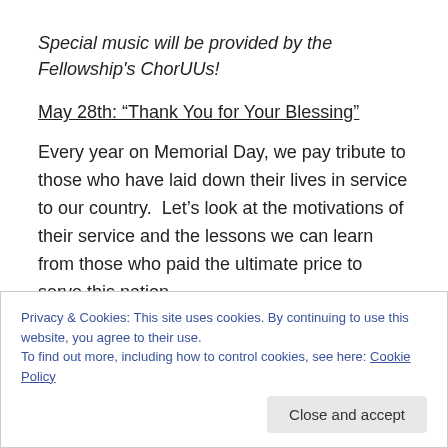Special music will be provided by the Fellowship's ChorUUs!
May 28th: “Thank You for Your Blessing”
Every year on Memorial Day, we pay tribute to those who have laid down their lives in service to our country. Let’s look at the motivations of their service and the lessons we can learn from those who paid the ultimate price to serve this nation.
Privacy & Cookies: This site uses cookies. By continuing to use this website, you agree to their use.
To find out more, including how to control cookies, see here: Cookie Policy